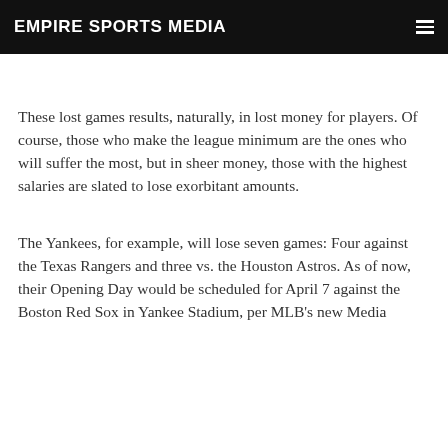EMPIRE SPORTS MEDIA
These lost games results, naturally, in lost money for players. Of course, those who make the league minimum are the ones who will suffer the most, but in sheer money, those with the highest salaries are slated to lose exorbitant amounts.
The Yankees, for example, will lose seven games: Four against the Texas Rangers and three vs. the Houston Astros. As of now, their Opening Day would be scheduled for April 7 against the Boston Red Sox in Yankee Stadium, per MLB's new Media